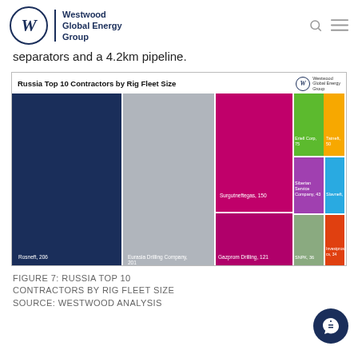Westwood Global Energy Group
separators and a 4.2km pipeline.
[Figure (other): Treemap chart: Russia Top 10 Contractors by Rig Fleet Size. Rosneft 206, Eurasia Drilling Company 201, Gazprom Drilling 121, Surgutneftegas 150, Eriell Corp 75, Tatneft 50, Siberian Service Company 43, Slavneft 42, SNPK 36, Investgeosery cs 34]
FIGURE 7: RUSSIA TOP 10 CONTRACTORS BY RIG FLEET SIZE SOURCE: WESTWOOD ANALYSIS